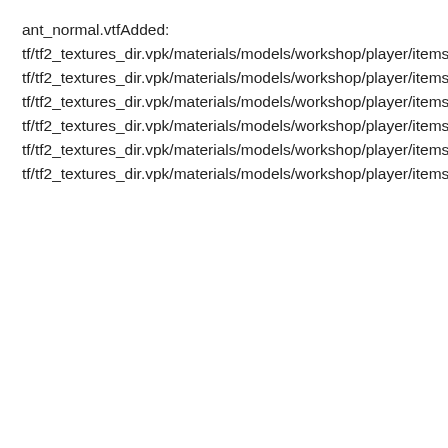ant_normal.vtfAdded:
tf/tf2_textures_dir.vpk/materials/models/workshop/player/items/all_class/ugc_season11_gold_second/ugc_season11_gold_second_1_color.vtfAdded:
tf/tf2_textures_dir.vpk/materials/models/workshop/player/items/all_class/ugc_season11_gold_second/ugc_season11_gold_second_1_normal.vtfAdded:
tf/tf2_textures_dir.vpk/materials/models/workshop/player/items/all_class/ugc_season11_gold_third/ugc_season11_gold_third_color.vtfAdded:
tf/tf2_textures_dir.vpk/materials/models/workshop/player/items/all_class/ugc_season11_gold_third/ugc_season11_gold_third_normal.vtfAdded:
tf/tf2_textures_dir.vpk/materials/models/workshop/player/items/all_class/ugc_season11_iron_first/ugc_season11_iron_first_color.vtfAdded:
tf/tf2_textures_dir.vpk/materials/models/workshop/player/items/all_class/ugc_season11_iron_first/ugc_season11_iron_first_normal.vtf